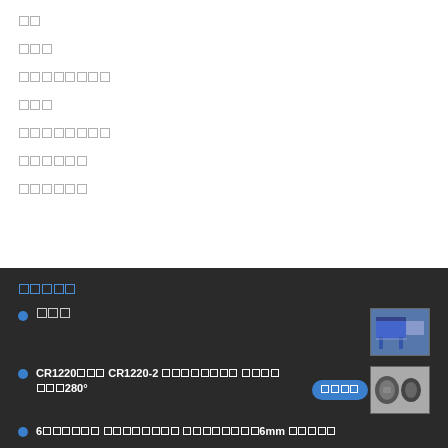██
███
████████
███
████████
██████
██████
█████
███
CR1220███ CR1220-2 ████████ ████ ███280°
6██████ ████████ ████████6mm █████